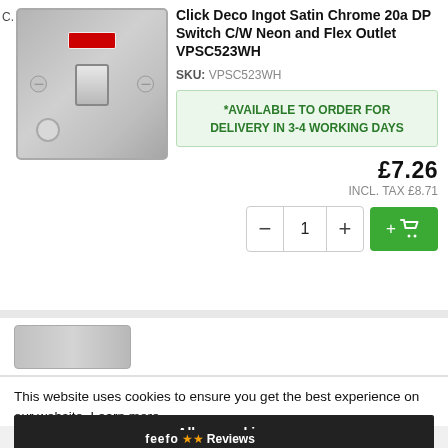[Figure (photo): Click Deco Ingot Satin Chrome 20a DP Switch product image showing a metallic switch plate with neon indicator and rocker switch]
Click Deco Ingot Satin Chrome 20a DP Switch C/W Neon and Flex Outlet VPSC523WH
SKU: VPSC523WH
*AVAILABLE TO ORDER FOR DELIVERY IN 3-4 WORKING DAYS
£7.26
INCL. TAX £8.71
This website uses cookies to ensure you get the best experience on our website. Learn more
Allow cookies
feefo Reviews